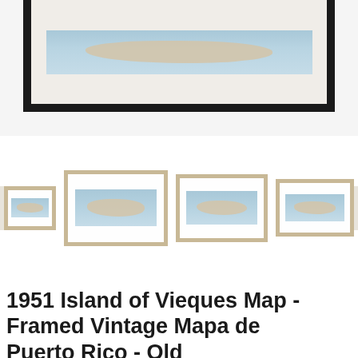[Figure (photo): Product photo showing a framed vintage map of Vieques Island in a black frame, partially visible from top. Below are four thumbnail product images showing the same map in tan/natural frames of varying sizes, with left and right navigation arrows.]
1951 Island of Vieques Map - Framed Vintage Mapa de Puerto Rico - Old